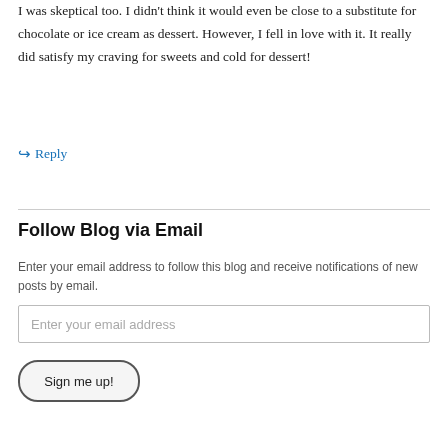I was skeptical too. I didn't think it would even be close to a substitute for chocolate or ice cream as dessert. However, I fell in love with it. It really did satisfy my craving for sweets and cold for dessert!
↳ Reply
Follow Blog via Email
Enter your email address to follow this blog and receive notifications of new posts by email.
Enter your email address
Sign me up!